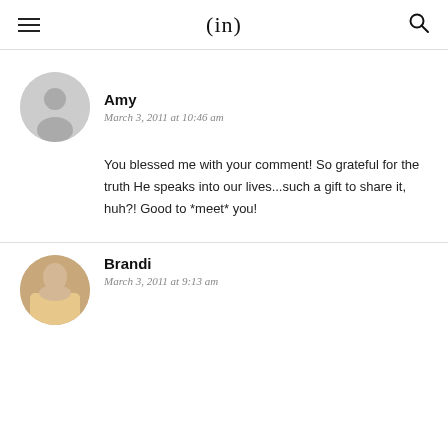(in)
Amy
March 3, 2011 at 10:46 am
You blessed me with your comment! So grateful for the truth He speaks into our lives...such a gift to share it, huh?! Good to *meet* you!
Brandi
March 3, 2011 at 9:13 am